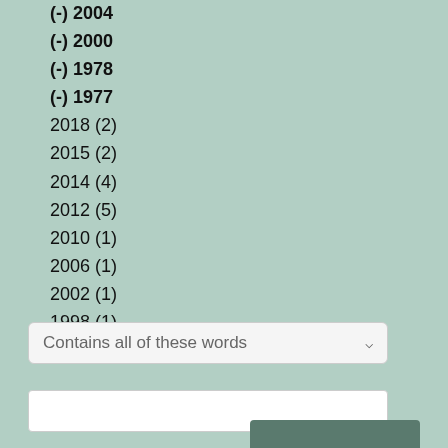(-) 2004
(-) 2000
(-) 1978
(-) 1977
2018 (2)
2015 (2)
2014 (4)
2012 (5)
2010 (1)
2006 (1)
2002 (1)
1998 (1)
1996 (8)
Contains all of these words